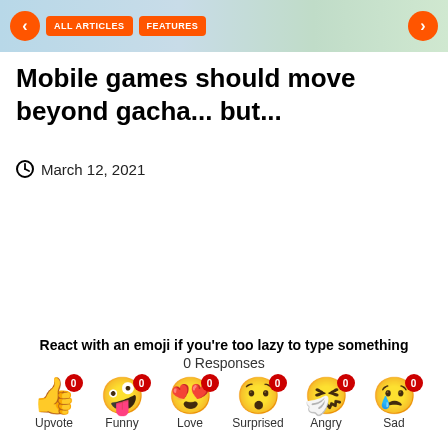[Figure (screenshot): Navigation banner with orange arrow buttons, ALL ARTICLES and FEATURES buttons, and a background image]
Mobile games should move beyond gacha... but...
March 12, 2021
React with an emoji if you're too lazy to type something
0 Responses
[Figure (infographic): Six emoji reaction buttons: Upvote (thumbs up), Funny (laughing face), Love (heart eyes), Surprised (surprised face), Angry (sneezing/sick face), Sad (crying face) — each with a red badge showing 0 and a label below]